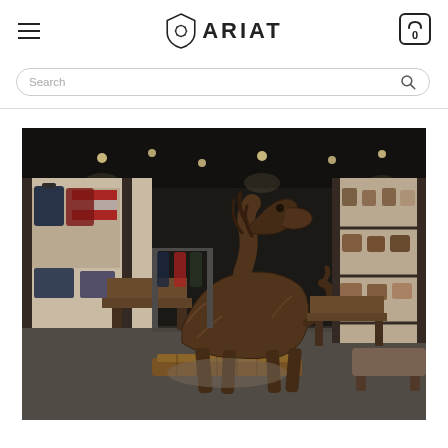Ariat website header with hamburger menu, Ariat logo, and cart icon (0 items)
Search
[Figure (photo): Interior of an Ariat retail store featuring a large driftwood horse sculpture on a wooden platform in the center, with clothing, bags, boots, and accessories displayed on shelves and tables throughout the store. Dark ceiling with track lighting.]